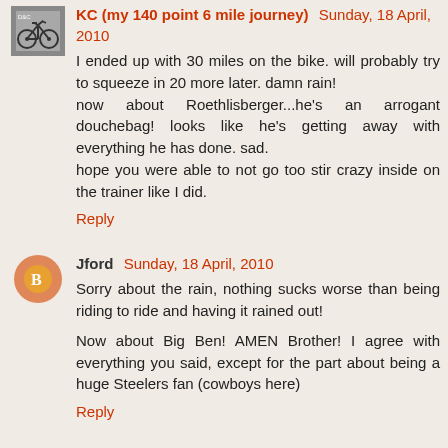KC (my 140 point 6 mile journey) Sunday, 18 April, 2010
I ended up with 30 miles on the bike. will probably try to squeeze in 20 more later. damn rain!
now about Roethlisberger...he's an arrogant douchebag! looks like he's getting away with everything he has done. sad.
hope you were able to not go too stir crazy inside on the trainer like I did.
Reply
Jford Sunday, 18 April, 2010
Sorry about the rain, nothing sucks worse than being riding to ride and having it rained out!

Now about Big Ben! AMEN Brother! I agree with everything you said, except for the part about being a huge Steelers fan (cowboys here)
Reply